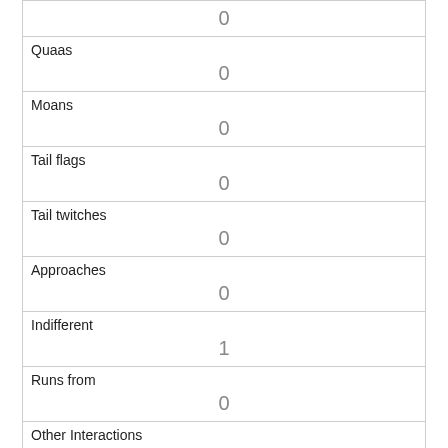|  | 0 |
| Quaas | 0 |
| Moans | 0 |
| Tail flags | 0 |
| Tail twitches | 0 |
| Approaches | 0 |
| Indifferent | 1 |
| Runs from | 0 |
| Other Interactions |  |
| Lat/Long | POINT (-73.9698959071826 40.7716763799299) |